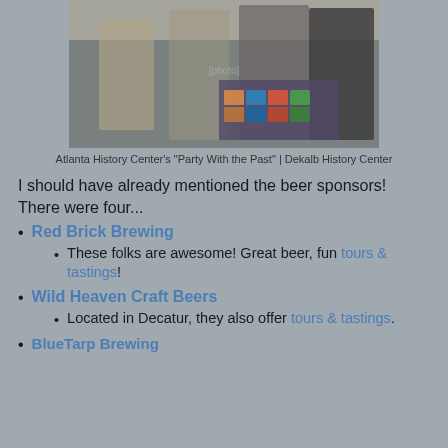[Figure (photo): People gathered at a beer event, standing around a table with cans and bottles, indoors in a large hall]
Atlanta History Center's "Party With the Past" | Dekalb History Center
I should have already mentioned the beer sponsors! There were four...
Red Brick Brewing
These folks are awesome! Great beer, fun tours & tastings!
Wild Heaven Craft Beers
Located in Decatur, they also offer tours & tastings.
BlueTarp Brewing